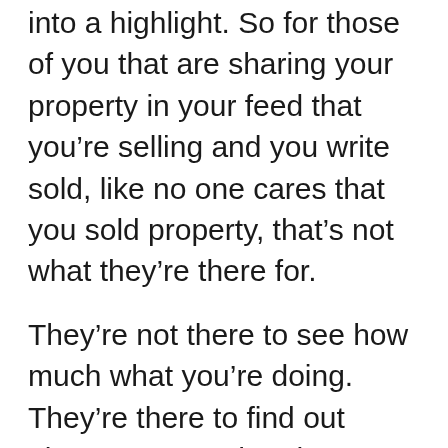into a highlight. So for those of you that are sharing your property in your feed that you're selling and you write sold, like no one cares that you sold property, that's not what they're there for.
They're not there to see how much what you're doing. They're there to find out about property that they want to buy. So if you want to show that you've sold property, you can share that in your stories. You can talk about the new homeowners, you can take them behind the scenes and then you can share it. You can keep it as a resource in stories, maybe as a place that says happy